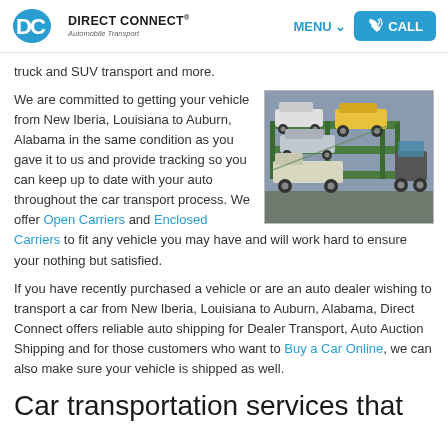Direct Connect Automobile Transport | MENU | CALL
truck and SUV transport and more.
We are committed to getting your vehicle from New Iberia, Louisiana to Auburn, Alabama in the same condition as you gave it to us and provide tracking so you can keep up to date with your auto throughout the car transport process. We offer Open Carriers and Enclosed Carriers to fit any vehicle you may have and will work hard to ensure your nothing but satisfied.
[Figure (photo): Car transport truck loaded with multiple vehicles including yellow and white cars on a green multi-level carrier]
If you have recently purchased a vehicle or are an auto dealer wishing to transport a car from New Iberia, Louisiana to Auburn, Alabama, Direct Connect offers reliable auto shipping for Dealer Transport, Auto Auction Shipping and for those customers who want to Buy a Car Online, we can also make sure your vehicle is shipped as well.
Car transportation services that